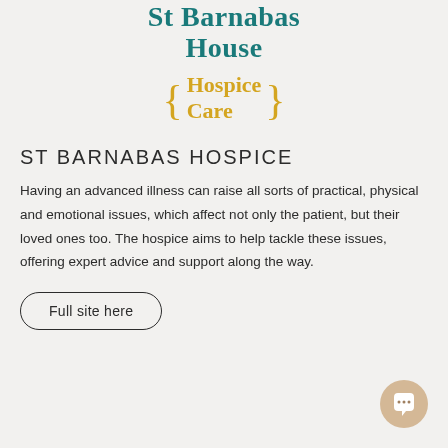[Figure (logo): St Barnabas House logo with teal text and gold Hospice Care braces logo]
ST BARNABAS HOSPICE
Having an advanced illness can raise all sorts of practical, physical and emotional issues, which affect not only the patient, but their loved ones too. The hospice aims to help tackle these issues, offering expert advice and support along the way.
Full site here
[Figure (illustration): Chat/message bubble icon button in gold/tan circle, bottom right corner]